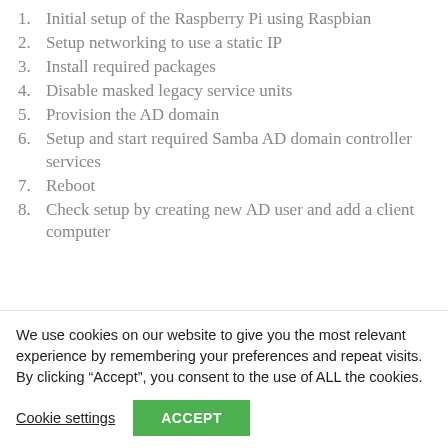1. Initial setup of the Raspberry Pi using Raspbian
2. Setup networking to use a static IP
3. Install required packages
4. Disable masked legacy service units
5. Provision the AD domain
6. Setup and start required Samba AD domain controller services
7. Reboot
8. Check setup by creating new AD user and add a client computer
For this particular setup we are going to use the following
We use cookies on our website to give you the most relevant experience by remembering your preferences and repeat visits. By clicking “Accept”, you consent to the use of ALL the cookies.